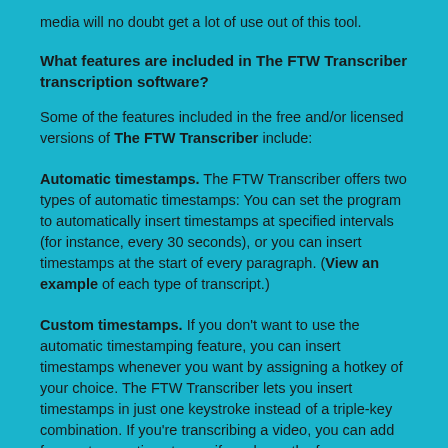media will no doubt get a lot of use out of this tool.
What features are included in The FTW Transcriber transcription software?
Some of the features included in the free and/or licensed versions of The FTW Transcriber include:
Automatic timestamps. The FTW Transcriber offers two types of automatic timestamps: You can set the program to automatically insert timestamps at specified intervals (for instance, every 30 seconds), or you can insert timestamps at the start of every paragraph. (View an example of each type of transcript.)
Custom timestamps. If you don't want to use the automatic timestamping feature, you can insert timestamps whenever you want by assigning a hotkey of your choice. The FTW Transcriber lets you insert timestamps in just one keystroke instead of a triple-key combination. If you're transcribing a video, you can add frames to your timestamps if you know the frames per second. FTW offers a wide range of customization options for your timestamps — you can even make them bold